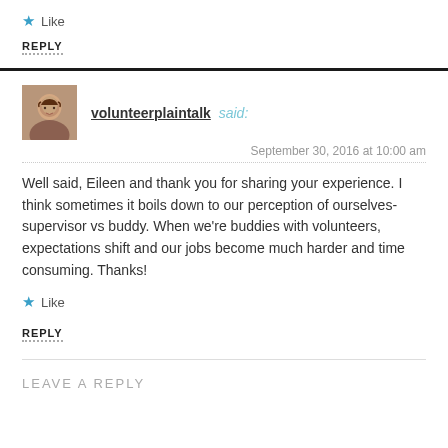★ Like
REPLY
volunteerplaintalk said:
September 30, 2016 at 10:00 am
Well said, Eileen and thank you for sharing your experience. I think sometimes it boils down to our perception of ourselves-supervisor vs buddy. When we're buddies with volunteers, expectations shift and our jobs become much harder and time consuming. Thanks!
★ Like
REPLY
LEAVE A REPLY